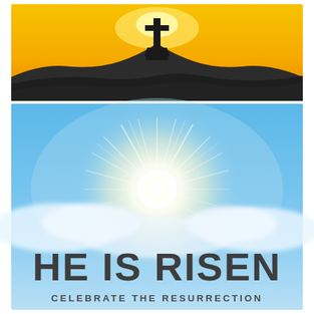[Figure (illustration): Top panel: orange/yellow sunset background with silhouette of a hill and a cross on top, dark rocky terrain at bottom. Bottom panel: bright blue sky with radiant white starburst sunlight and white clouds, large bold dark text 'HE IS RISEN' centered, smaller text 'CELEBRATE THE RESURRECTION' below.]